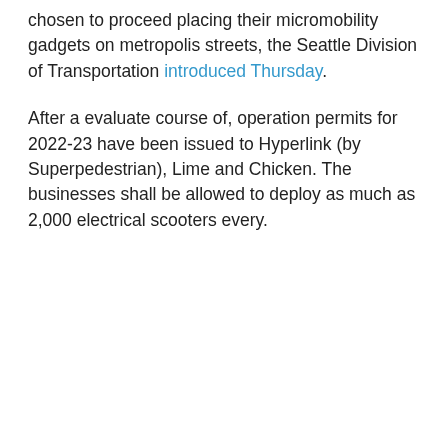chosen to proceed placing their micromobility gadgets on metropolis streets, the Seattle Division of Transportation introduced Thursday.
After a evaluate course of, operation permits for 2022-23 have been issued to Hyperlink (by Superpedestrian), Lime and Chicken. The businesses shall be allowed to deploy as much as 2,000 electrical scooters every.